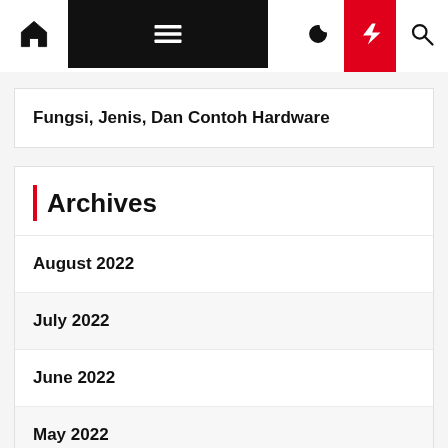Navigation bar with home, menu, moon, bolt, and search icons
Fungsi, Jenis, Dan Contoh Hardware
Archives
August 2022
July 2022
June 2022
May 2022
April 2022
March 2022